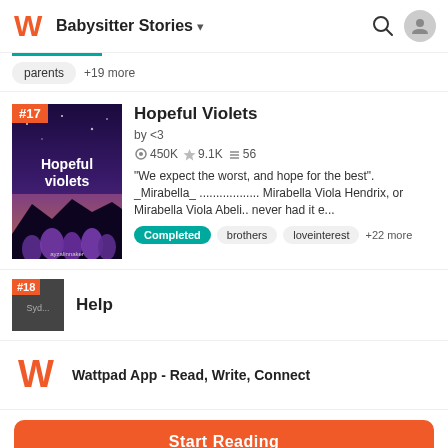Babysitter Stories
parents +19 more
Hopeful Violets
by <3
◉450K ★9.1K ☰56
"We expect the worst, and hope for the best". _Mirabella_.................. Mirabella Viola Hendrix, or Mirabella Viola Abeli.. never had it e...
Completed  brothers  loveinterest  +22 more
[Figure (illustration): Book cover for Hopeful Violets showing purple flowers against a twilight sky with text 'Hopeful violets' and rank badge #17]
Help
[Figure (logo): Wattpad orange W logo]
Wattpad App - Read, Write, Connect
Start Reading
Log in with Browser